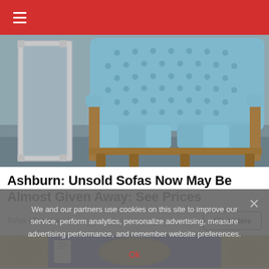≡
[Figure (photo): A blue tufted velvet loveseat with wooden frame next to an ornate silver mirror on a gray/blue background]
Ashburn: Unsold Sofas Now May Be Almost Given Away: See Prices
Sofas | Sponsored
Click Here
[Figure (photo): Partial view of a second furniture advertisement image — decorative gold and blue scene]
We and our partners use cookies on this site to improve our service, perform analytics, personalize advertising, measure advertising performance, and remember website preferences.
Ok